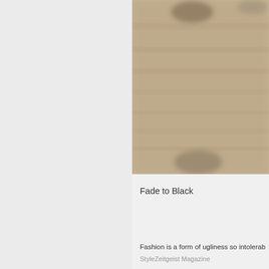[Figure (photo): Blurred, blurry photograph with beige/tan tones, appears to show a fabric or textile surface with indistinct horizontal lines]
Fade to Black
Fashion is a form of ugliness so intolerab
StyleZeitgeist Magazine